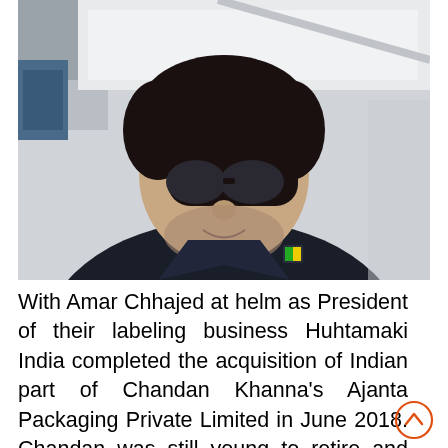[Figure (photo): A man wearing dark sunglasses and a dark navy polo shirt, taking a selfie outdoors. He has short dark hair and a short beard/stubble. Background shows a white surface and some outdoor scenery.]
With Amar Chhajed at helm as President of their labeling business Huhtamaki India completed the acquisition of Indian part of Chandan Khanna's Ajanta Packaging Private Limited in June 2018. Chandan was still young to retire and moreover he still had his UAE and Thailand factories. He initially visualized a sabbatical and fun times